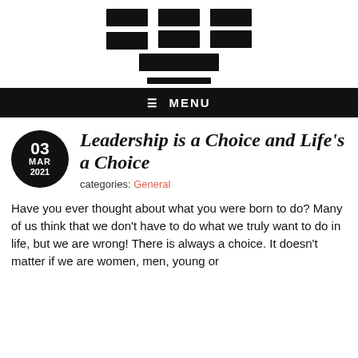[redacted site title and subtitle]
≡ MENU
Leadership is a Choice and Life's a Choice
categories: General
Have you ever thought about what you were born to do? Many of us think that we don't have to do what we truly want to do in life, but we are wrong! There is always a choice. It doesn't matter if we are women, men, young or